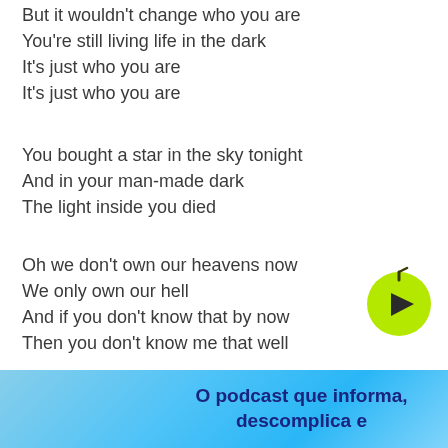But it wouldn't change who you are
You're still living life in the dark
It's just who you are
It's just who you are
You bought a star in the sky tonight
And in your man-made dark
The light inside you died
Oh we don't own our heavens now
We only own our hell
And if you don't know that by now
Then you don't know me that well
All my life I've been so lonely
All in the name of being holy
Still, ya... [faded]
You ke... [faded]
And you could buy up all of the stars [faded]
[Figure (other): Green play button icon with dark play triangle]
[Figure (infographic): Blue advertisement banner reading 'O podcast que informa, descomplica e']